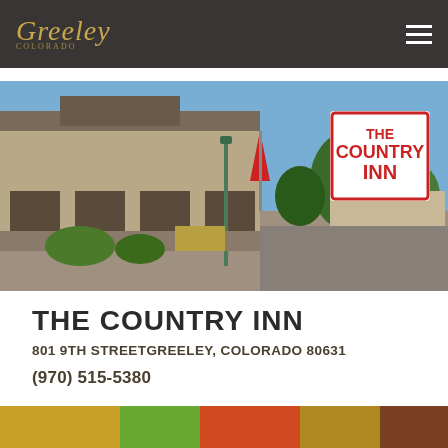Greeley
[Figure (photo): Exterior photo of The Country Inn building with parking lot, street lamp, trees, and The Country Inn signage visible in the upper right]
THE COUNTRY INN
801 9TH STREETGREELEY, COLORADO 80631
(970) 515-5380
[Figure (photo): Partial bottom photo, colorful image partially visible]